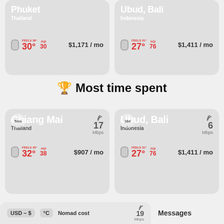[Figure (infographic): Location card for Phuket, Thailand showing temperature 30°C (feels 39°), AQI 30, cost $1,171/mo]
[Figure (infographic): Location card for Ubud, Bali, Indonesia showing temperature 27°C (feels 31°), AQI 76, cost $1,411/mo]
🏆 Most time spent
[Figure (infographic): Location card for Chiang Mai, Thailand, 5 months, 17 Mbps wifi, temperature 32°C (feels 43°), AQI 38, cost $907/mo]
[Figure (infographic): Location card for Ubud, Bali, Indonesia, 16 days, 6 Mbps wifi, temperature 27°C (feels 31°), AQI 76, cost $1,411/mo]
USD – $ °C Nomad cost 19 Mbps Messages